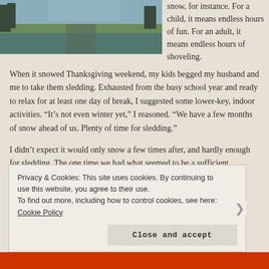[Figure (photo): Outdoor scene with grass and water/flooded area, trees in background]
snow, for instance. For a child, it means endless hours of fun. For an adult, it means endless hours of shoveling.
When it snowed Thanksgiving weekend, my kids begged my husband and me to take them sledding. Exhausted from the busy school year and ready to relax for at least one day of break, I suggested some lower-key, indoor activities. “It’s not even winter yet,” I reasoned. “We have a few months of snow ahead of us. Plenty of time for sledding.”
I didn’t expect it would only snow a few times after, and hardly enough for sledding. The one time we had what seemed to be a sufficient
Privacy & Cookies: This site uses cookies. By continuing to use this website, you agree to their use.
To find out more, including how to control cookies, see here: Cookie Policy
Close and accept